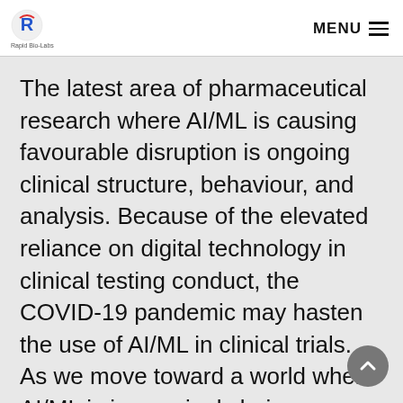Rapid Bio-Labs MENU
The latest area of pharmaceutical research where AI/ML is causing favourable disruption is ongoing clinical structure, behaviour, and analysis. Because of the elevated reliance on digital technology in clinical testing conduct, the COVID-19 pandemic may hasten the use of AI/ML in clinical trials. As we move toward a world where AI/ML is increasingly being integrated into R&D, it is critical to cut through the associated buzzwords and noise. It is also critical to recognise that the scientific method is not obsolete when drawing conclusions from data. This will aid in distinguishing between hope